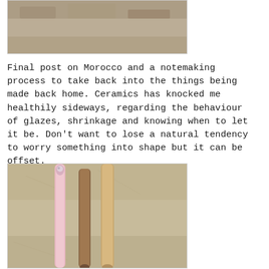[Figure (photo): Top portion of a photo showing a sandy/earthy ground texture, partially cropped at top of page]
Final post on Morocco and a notemaking process to take back into the things being made back home. Ceramics has knocked me healthily sideways, regarding the behaviour of glazes, shrinkage and knowing when to let it be. Don't want to lose a natural tendency to worry something into shape but it can be offset.
[Figure (photo): Photo of three elongated ceramic or clay sticks/tools laid flat on a stone surface — one pink/glazed, one brown/earthen, one tan/wooden — photographed from above]